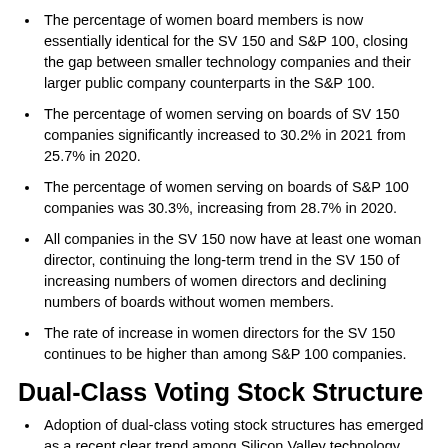The percentage of women board members is now essentially identical for the SV 150 and S&P 100, closing the gap between smaller technology companies and their larger public company counterparts in the S&P 100.
The percentage of women serving on boards of SV 150 companies significantly increased to 30.2% in 2021 from 25.7% in 2020.
The percentage of women serving on boards of S&P 100 companies was 30.3%, increasing from 28.7% in 2020.
All companies in the SV 150 now have at least one woman director, continuing the long-term trend in the SV 150 of increasing numbers of women directors and declining numbers of boards without women members.
The rate of increase in women directors for the SV 150 continues to be higher than among S&P 100 companies.
Dual-Class Voting Stock Structure
Adoption of dual-class voting stock structures has emerged as a recent clear trend among Silicon Valley technology companies—including among those that have grown to be among the mid-to-larger SV 150 companies—though it is still a